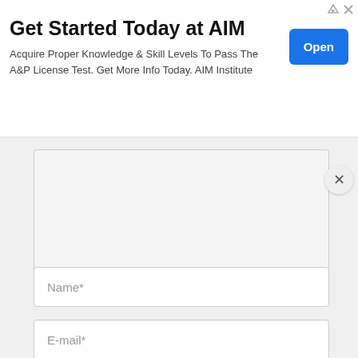[Figure (infographic): Advertisement banner for AIM Institute with title, subtitle, and Open button]
Get Started Today at AIM
Acquire Proper Knowledge & Skill Levels To Pass The A&P License Test. Get More Info Today. AIM Institute
Name*
E-mail*